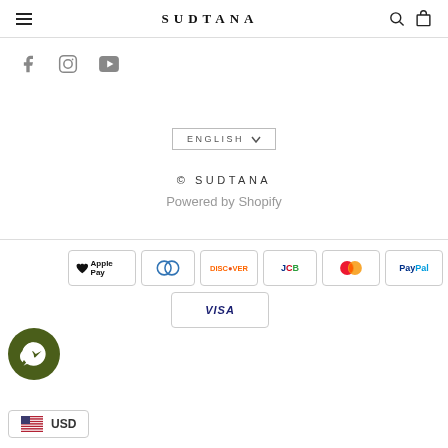SUDTANA
[Figure (infographic): Social media icons: Facebook, Instagram, YouTube]
ENGLISH ∨
© SUDTANA
Powered by Shopify
[Figure (infographic): Payment icons: Apple Pay, Diners Club, Discover, JCB, Mastercard, PayPal, Venmo, Visa]
[Figure (infographic): Messenger chat button (dark green circle)]
USD